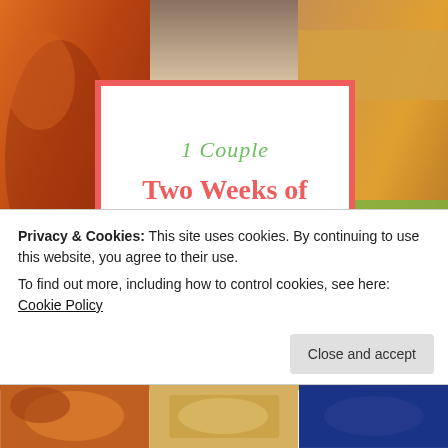[Figure (photo): Food collage background with three panels: left panel showing glazed meat/chicken, center-top panel showing a bowl of soup, right panel showing a sandwich. Bottom strip shows three more food thumbnails.]
1 Couple

Two Weeks of Meals

$100 Budget
Privacy & Cookies: This site uses cookies. By continuing to use this website, you agree to their use.
To find out more, including how to control cookies, see here: Cookie Policy
Close and accept